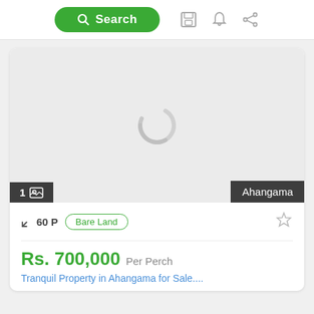Search
[Figure (screenshot): Property listing card with a loading spinner in a gray image area. Bottom-left overlay shows '1 [image icon]', bottom-right overlay shows 'Ahangama'. Below the image: 60 P area, Bare Land badge, star icon, price Rs. 700,000 Per Perch, and listing title 'Tranquil Property in Ahangama for Sale....']
Rs. 700,000 Per Perch
Tranquil Property in Ahangama for Sale....